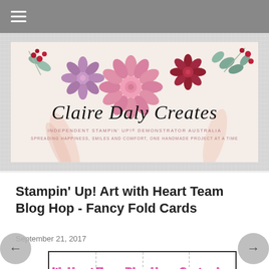≡ (hamburger menu)
[Figure (illustration): Claire Daly Creates blog banner with watercolor flowers (pink, red, mauve dahlias, berries, eucalyptus leaves) and cursive script logo text reading 'Claire Daly Creates', with subtitle 'INDEPENDENT STAMPIN' UP! DEMONSTRATOR AUSTRALIA' and 'SPREADING HAPPINESS, SMILES AND COMFORT, ONE HANDMADE PROJECT AT A TIME']
Stampin' Up! Art with Heart Team Blog Hop - Fancy Fold Cards
September 21, 2017
[Figure (illustration): Art with Heart Team Blog Hop - September 2017 graphic card with pink outlined bold text on white background with dashed column lines, and 'Fancy Folds' in large blue decorative font partially visible at bottom]